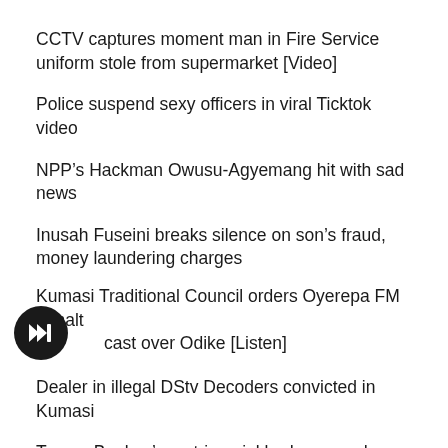CCTV captures moment man in Fire Service uniform stole from supermarket [Video]
Police suspend sexy officers in viral Ticktok video
NPP’s Hackman Owusu-Agyemang hit with sad news
Inusah Fuseini breaks silence on son’s fraud, money laundering charges
Kumasi Traditional Council orders Oyerepa FM to halt broadcast over Odike [Listen]
Dealer in illegal DStv Decoders convicted in Kumasi
Tracey Boakye’s matrimonial bedroom and mansion cause stir on social media